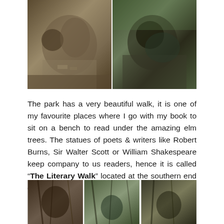[Figure (photo): Two photos side by side: left shows a bronze statue of a person reading on a bench with a duck beside them on cobblestones; right shows a bronze sculpture of a bear or animal figure in an outdoor park setting with autumn foliage.]
The park has a very beautiful walk, it is one of my favourite places where I go with my book to sit on a bench to read under the amazing elm trees. The statues of poets & writers like Robert Burns, Sir Walter Scott or William Shakespeare keep company to us readers, hence it is called “The Literary Walk” located at the southern end of the Mall.
[Figure (photo): Three photos side by side showing bronze statues of poets/writers among bare trees in a park, likely from the Literary Walk in Central Park.]